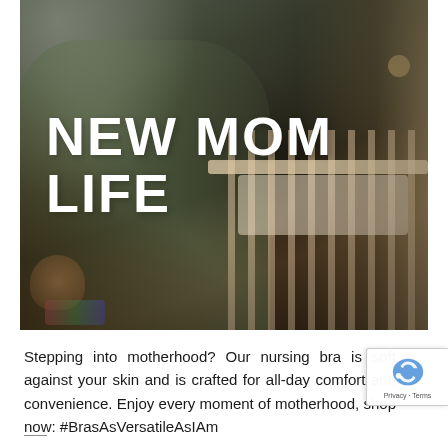[Figure (photo): A woman in a green top and brown pants kneeling beside a baby crib in a nursery room, with curtains in the background. The text 'NEW MOM LIFE' is overlaid in large white bold letters.]
NEW MOM LIFE
Stepping into motherhood? Our nursing bra is soft against your skin and is crafted for all-day comfort and convenience. Enjoy every moment of motherhood, shop now: #BrasAsVersatileAsIAm
Privacy · Terms